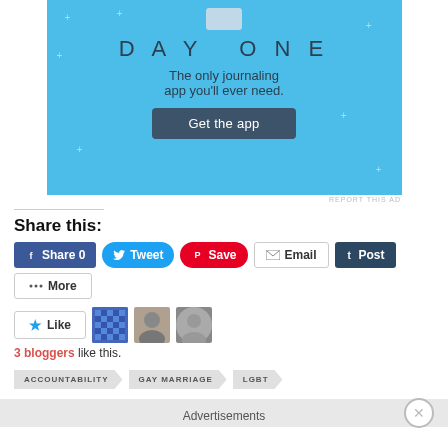[Figure (screenshot): Day One journaling app advertisement banner with light blue background showing 'DAY ONE' title, 'The only journaling app you'll ever need.' tagline, and 'Get the app' button]
REPORT THIS AD
Share this:
Share 0  Tweet  Save  Email  Post  More
3 bloggers like this.
ACCOUNTABILITY  GAY MARRIAGE  LGBT
Advertisements